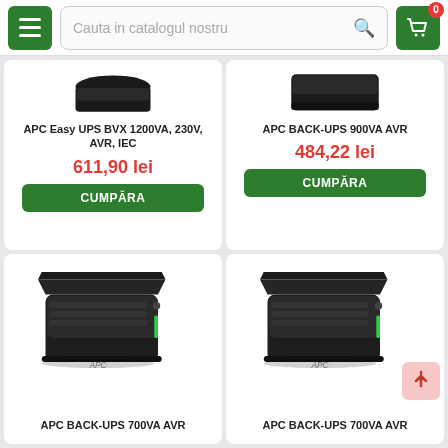Cauta in catalogul nostru
APC Easy UPS BVX 1200VA, 230V, AVR, IEC
611,90 lei
CUMPĂRA
APC BACK-UPS 900VA AVR
484,22 lei
CUMPĂRA
[Figure (photo): APC BACK-UPS 700VA AVR UPS device, black, shown at angle]
APC BACK-UPS 700VA AVR
[Figure (photo): APC BACK-UPS 700VA AVR UPS device, black, shown at angle]
APC BACK-UPS 700VA AVR